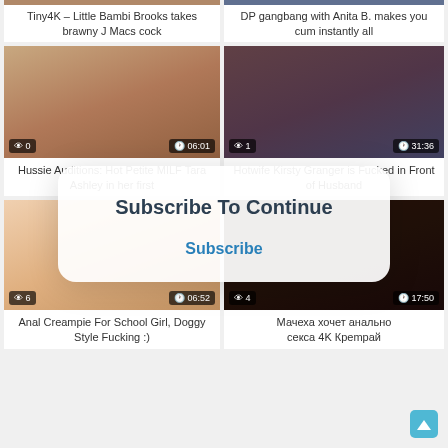[Figure (screenshot): Video thumbnail top left (partial, cropped at top)]
Tiny4K – Little Bambi Brooks takes brawny J Macs cock
[Figure (screenshot): Video thumbnail top right (partial, cropped at top)]
DP gangbang with Anita B. makes you cum instantly all
[Figure (screenshot): Video thumbnail middle left with view count 0 and duration 06:01]
Hussie Auditions: Hot Petite MILF Tara Ashley in her first
[Figure (screenshot): Video thumbnail middle right with view count 1 and duration 31:36]
Hotwife Kirsty Granger is Fucked in Front of Husband
[Figure (screenshot): Video thumbnail bottom left with view count 6 and duration 06:52]
Anal Creampie For School Girl, Doggy Style Fucking :)
[Figure (screenshot): Video thumbnail bottom right with view count 4 and duration 17:50]
Мачеха хочет анального секса 4K Крempай
Subscribe To Continue
Subscribe